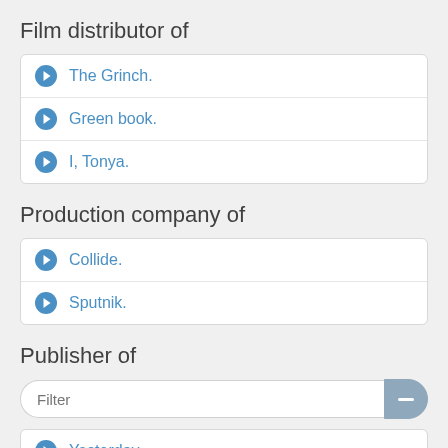Film distributor of
The Grinch.
Green book.
I, Tonya.
Production company of
Collide.
Sputnik.
Publisher of
Yesterday.
1917.
A bad moms Christmas.